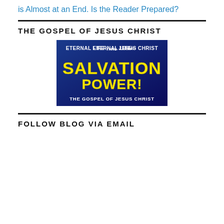is Almost at an End. Is the Reader Prepared?
THE GOSPEL OF JESUS CHRIST
[Figure (illustration): Dark blue background graphic with text: 'ETERNAL LIFE THRU JESUS CHRIST' at top in white, large yellow bold text 'SALVATION POWER!' in center, and 'THE GOSPEL OF JESUS CHRIST' at bottom in white.]
FOLLOW BLOG VIA EMAIL